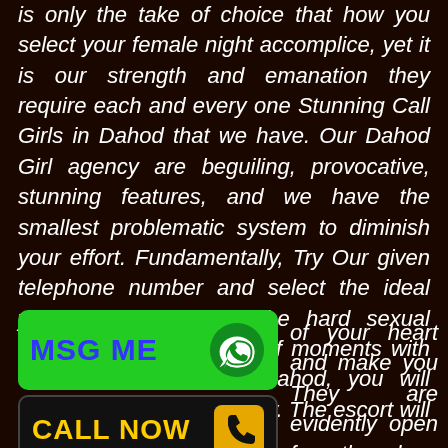is only the take of choice that how you select your female night accomplice, yet it is our strength and emanation they require each and every one Stunning Call Girls in Dahod that we have. Our Dahod Girl agency are beguiling, provocative, stunning features, and we have the smallest problematic system to diminish your effort. Fundamentally, Try Our given telephone number and select the ideal youthful call girls for the hard sexual delight, in just a couple of moments with our hot Call Girls In Dahod, you will require the lift in your body. The escort will get of your heart and make you They are evidently open for the long end table. You can ut-call escort agency Dahod
[Figure (other): Green MSG ME button with WhatsApp icon]
[Figure (other): Black CALL NOW button with phone icon on yellow background]